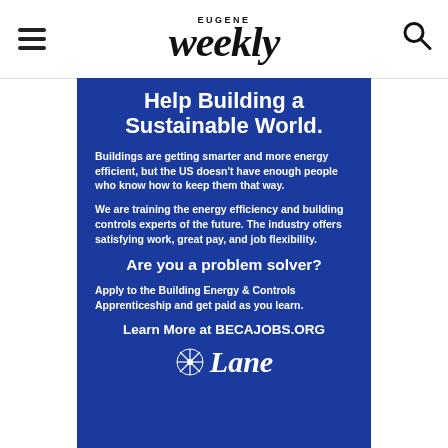EUGENE Weekly
Help Building a Sustainable World.
Buildings are getting smarter and more energy efficient, but the US doesn't have enough people who know how to keep them that way.
We are training the energy efficiency and building controls experts of the future. The industry offers satisfying work, great pay, and job flexibility.
Are you a problem solver?
Apply to the Building Energy & Controls Apprenticeship and get paid as you learn.
Learn More at BECAJOBS.ORG